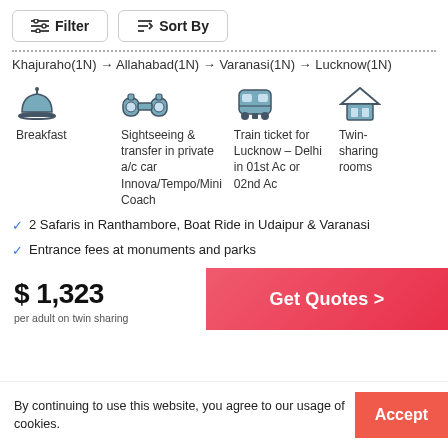Filter  Sort By
Khajuraho(1N) → Allahabad(1N) → Varanasi(1N) → Lucknow(1N)
[Figure (infographic): Four travel amenity icons with labels: Breakfast, Sightseeing & transfer in private a/c car Innova/Tempo/Mini Coach, Train ticket for Lucknow – Delhi in 01st Ac or 02nd Ac, Twin-sharing rooms]
2 Safaris in Ranthambore, Boat Ride in Udaipur & Varanasi
Entrance fees at monuments and parks
$ 1,323
per adult on twin sharing
Get Quotes >
By continuing to use this website, you agree to our usage of cookies.
Accept